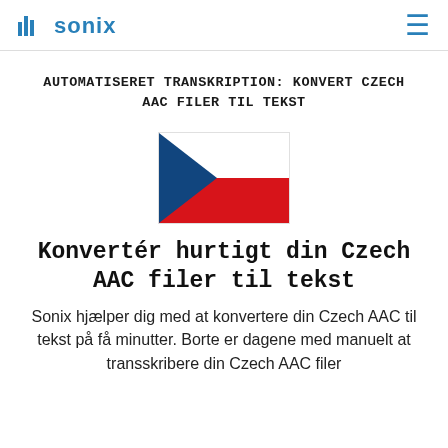sonix
AUTOMATISERET TRANSKRIPTION: KONVERT CZECH AAC FILER TIL TEKST
[Figure (illustration): Czech Republic flag — white and red horizontal stripes with a blue triangle on the left side]
Konvertér hurtigt din Czech AAC filer til tekst
Sonix hjælper dig med at konvertere din Czech AAC til tekst på få minutter. Borte er dagene med manuelt at transskribere din Czech AAC filer